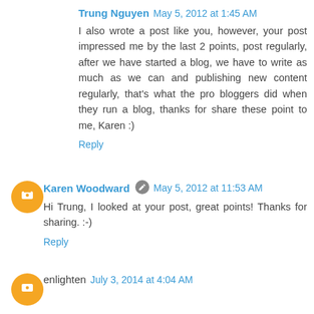Trung Nguyen   May 5, 2012 at 1:45 AM
I also wrote a post like you, however, your post impressed me by the last 2 points, post regularly, after we have started a blog, we have to write as much as we can and publishing new content regularly, that's what the pro bloggers did when they run a blog, thanks for share these point to me, Karen :)
Reply
Karen Woodward   May 5, 2012 at 11:53 AM
Hi Trung, I looked at your post, great points! Thanks for sharing. :-)
Reply
enlighten   July 3, 2014 at 4:04 AM